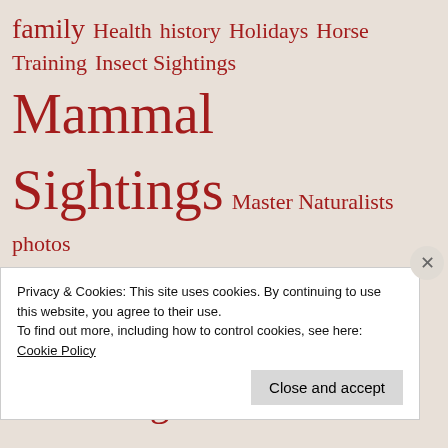family Health history Holidays Horse Training Insect Sightings Mammal Sightings Master Naturalists photos Plant Sightings politics projects Ramblings Ranch Life rant real estate Reptile Sightings
Privacy & Cookies: This site uses cookies. By continuing to use this website, you agree to their use. To find out more, including how to control cookies, see here: Cookie Policy
Close and accept